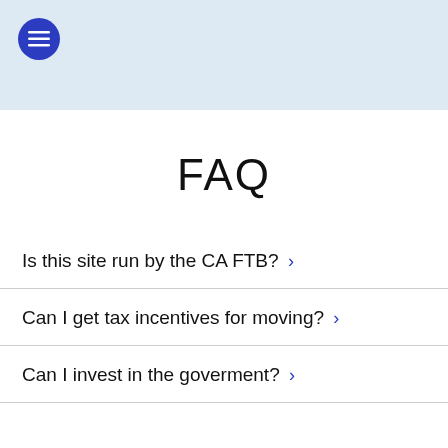FAQ
Is this site run by the CA FTB? >
Can I get tax incentives for moving? >
Can I invest in the goverment? >